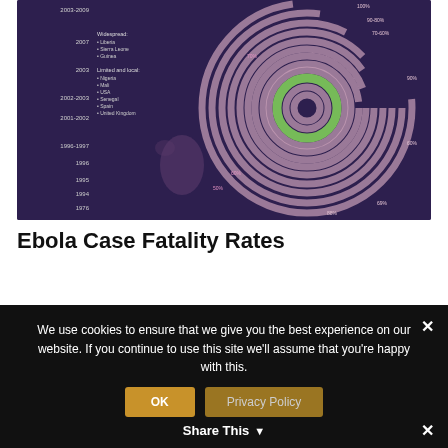[Figure (infographic): Ebola Case Fatality Rates spiral/radar infographic on dark purple background. Shows concentric rings by year from 1976 to 2014 with pink arcs and a green highlighted ring. Left side shows year labels and geographic spread information. Right side shows percentage labels.]
Ebola Case Fatality Rates
[Figure (screenshot): Screenshot of a document about 'how to include participants with different impairments' - Section 5: Sports Inclusion Model. Shows orange and red text with organizational logos on the right.]
We use cookies to ensure that we give you the best experience on our website. If you continue to use this site we'll assume that you're happy with this.